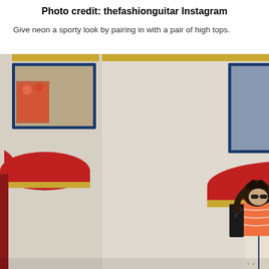Photo credit: thefashionguitar Instagram
Give neon a sporty look by pairing in with a pair of high tops.
[Figure (photo): A young woman wearing sunglasses, a neon orange/pink patterned top, and a black leather jacket, standing in front of a building with blue-framed windows, red awnings, and a large palm plant. The building has a cream/white facade.]